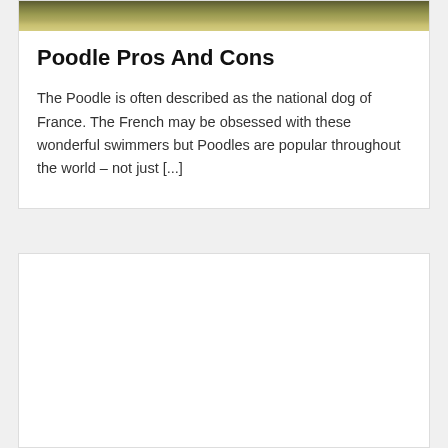[Figure (photo): Grassy outdoor background photo strip at the top of the card]
Poodle Pros And Cons
The Poodle is often described as the national dog of France. The French may be obsessed with these wonderful swimmers but Poodles are popular throughout the world – not just [...]
[Figure (other): Empty white card placeholder below the article card]